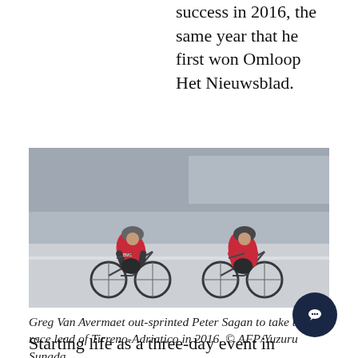success in 2016, the same year that he first won Omloop Het Nieuwsblad.
[Figure (photo): Two cyclists in a sprint finish, one in BMC red kit (Greg Van Avermaet) and one in red and black kit (Peter Sagan), racing closely on a road with crowd barriers in the background.]
Greg Van Avermaet out-sprinted Peter Sagan to take the race lead of Tirreno-Adriatico in 2016. © AFP/Yuzuru Sunada
Starting life as a three-day event in